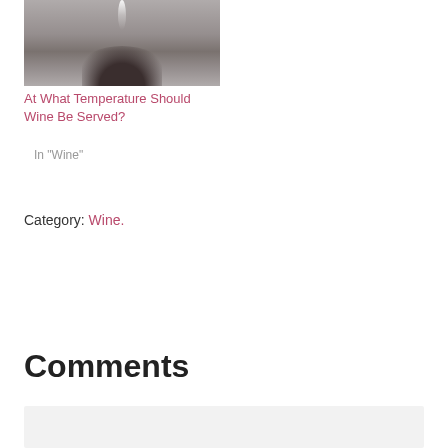[Figure (photo): A photo showing a person with curly dark hair and what appears to be smoke or steam above their head, grayscale/muted tones]
At What Temperature Should Wine Be Served?
In "Wine"
Category: Wine.
Comments
Apollo says